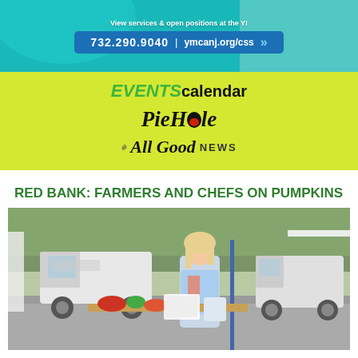[Figure (photo): YMCA advertisement banner with teal/cyan background showing people working, text 'View services & open positions at the Y!' with phone number 732.290.9040 and website ymcanj.org/css]
[Figure (logo): Events Calendar section with lime-green background featuring 'EVENTS calendar' header in green/black italic, 'PieHole' logo in italic script with red mouth graphic, and 'All Good NEWS' logo in italic script]
RED BANK: FARMERS AND CHEFS ON PUMPKINS
[Figure (photo): Outdoor farmers market scene with a blonde woman standing at a vendor booth, white trucks in background, tent canopy visible, produce and goods on tables in foreground]